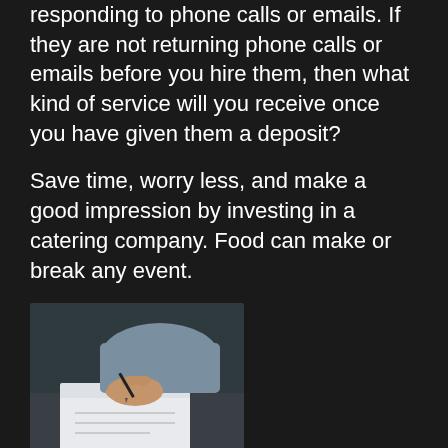responding to phone calls or emails. If they are not returning phone calls or emails before you hire them, then what kind of service will you receive once you have given them a deposit?
Save time, worry less, and make a good impression by investing in a catering company. Food can make or break any event.
[Figure (photo): A person's hand holding a pen and writing on paper on a desk]
As with anything else in business, get it in writing. The caterer's contract should specify what food, beverage and services they will provide as well as details regarding date, time and location. Catering is